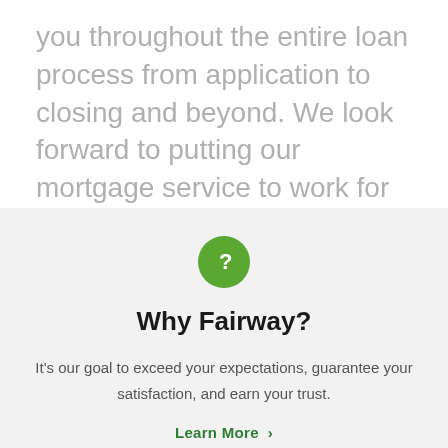you throughout the entire loan process from application to closing and beyond. We look forward to putting our mortgage service to work for you!
[Figure (illustration): Green circle with white question mark icon]
Why Fairway?
It's our goal to exceed your expectations, guarantee your satisfaction, and earn your trust.
Learn More >